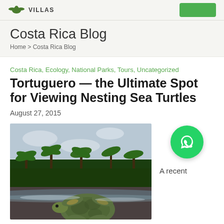VILLAS
Costa Rica Blog
Home > Costa Rica Blog
Costa Rica, Ecology, National Parks, Tours, Uncategorized
Tortuguero — the Ultimate Spot for Viewing Nesting Sea Turtles
August 27, 2015
[Figure (photo): A sea turtle on a dark sandy beach in Tortuguero, Costa Rica, with palm trees in the background]
A recent